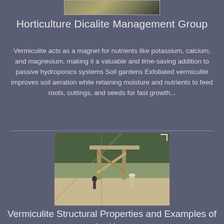[Figure (photo): Partial top image strip visible at top of page]
Horticulture Dicalite Management Group
Vermiculite acts as a magnet for nutrients like potassium, calcium, and magnesium, making it a valuable and time-saving addition to passive hydroponics systems Soil gardens Exfoliated vermiculite improves soil aeration while retaining moisture and nutrients to feed roots, cuttings, and seeds for fast growth...
[Figure (photo): Construction workers with heavy timber frame structure outdoors, forest background]
Vermiculite Structural Properties and Examples of the Use ,
12-09-2012 0183 32 Two distinct magnetic nanocomposites based on thermally-expanded vermiculite pellets were treated with two different magnetic fluid sampl One of them was an ionic magnetic fluid IMF , and the second a surfacted magnetic fluid SMF was consisting of oleic acid-coated nanoparticles suspended in organic